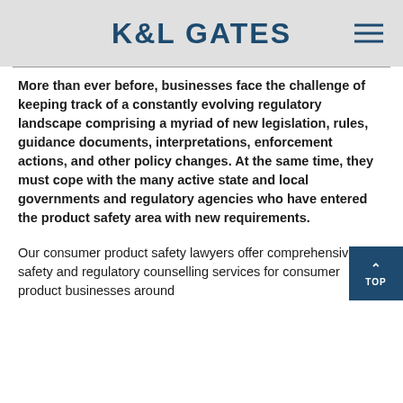K&L GATES
More than ever before, businesses face the challenge of keeping track of a constantly evolving regulatory landscape comprising a myriad of new legislation, rules, guidance documents, interpretations, enforcement actions, and other policy changes. At the same time, they must cope with the many active state and local governments and regulatory agencies who have entered the product safety area with new requirements.
Our consumer product safety lawyers offer comprehensive safety and regulatory counselling services for consumer product businesses around